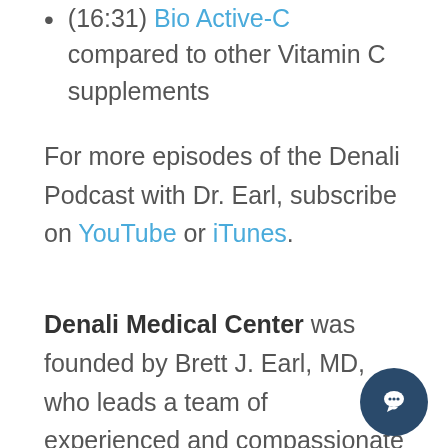(16:31) Bio Active-C compared to other Vitamin C supplements
For more episodes of the Denali Podcast with Dr. Earl, subscribe on YouTube or iTunes.
Denali Medical Center was founded by Brett J. Earl, MD, who leads a team of experienced and compassionate providers. This team is passionate about educating patients on